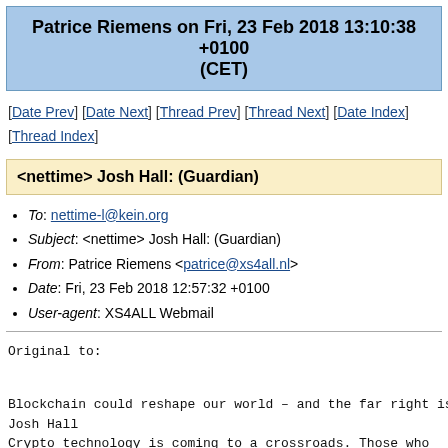Patrice Riemens on Fri, 23 Feb 2018 13:10:38 +0100 (CET)
[Date Prev] [Date Next] [Thread Prev] [Thread Next] [Date Index] [Thread Index]
<nettime> Josh Hall: (Guardian)
To: nettime-l@kein.org
Subject: <nettime> Josh Hall: (Guardian)
From: Patrice Riemens <patrice@xs4all.nl>
Date: Fri, 23 Feb 2018 12:57:32 +0100
User-agent: XS4ALL Webmail
Original to:
Blockchain could reshape our world – and the far right is
Josh Hall
Crypto technology is coming to a crossroads. Those who